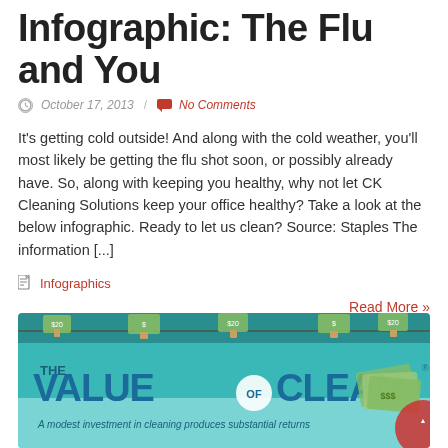Infographic: The Flu and You
October 17, 2013 / No Comments
It's getting cold outside! And along with the cold weather, you'll most likely be getting the flu shot soon, or possibly already have. So, along with keeping you healthy, why not let CK Cleaning Solutions keep your office healthy? Take a look at the below infographic. Ready to let us clean? Source: Staples The information [...]
Infographics
Read More »
[Figure (infographic): The Value of Clean infographic banner - teal background with hanging dollar bills on clotheslines, bold blue text reading 'THE VALUE OF CLEAN' with a circular 'OF' in the center, subtitle 'A modest investment in cleaning produces substantial returns', and illustrated money/cash pile on right side]